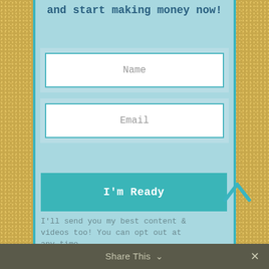and start making money now!
[Figure (screenshot): Web signup form with Name field, Email field, and 'I'm Ready' button on a light blue background with gold glitter border background]
I'll send you my best content & videos too! You can opt out at any time.
Share This ∨  ✕